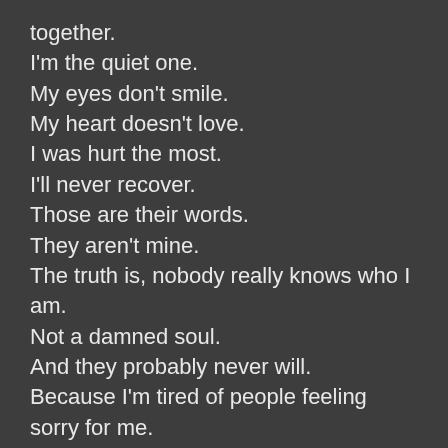together.
I'm the quiet one.
My eyes don't smile.
My heart doesn't love.
I was hurt the most.
I'll never recover.
Those are their words.
They aren't mine.
The truth is, nobody really knows who I am.
Not a damned soul.
And they probably never will.
Because I'm tired of people feeling sorry for me.
I'm tired of living under the Knight command.
Keeping the reputation.
Maybe, just maybe, I'd like to be something